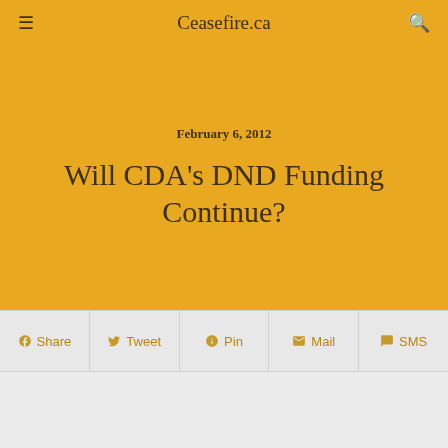Ceasefire.ca
February 6, 2012
Will CDA's DND Funding Continue?
Share   Tweet   Pin   Mail   SMS